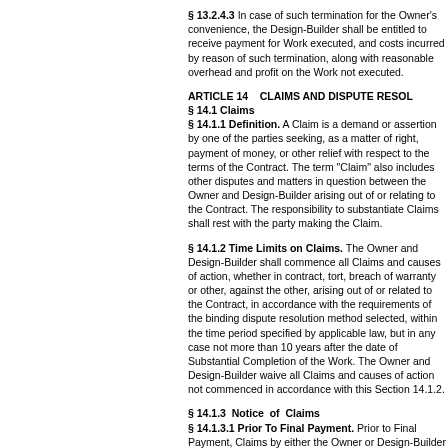§ 13.2.4.3 In case of such termination for the Owner's convenience, the Design-Builder shall be entitled to receive payment for Work executed, and costs incurred by reason of such termination, along with reasonable overhead and profit on the Work not executed.
ARTICLE 14    CLAIMS AND DISPUTE RESOLUTION
§ 14.1 Claims
§ 14.1.1 Definition. A Claim is a demand or assertion by one of the parties seeking, as a matter of right, payment of money, or other relief with respect to the terms of the Contract. The term "Claim" also includes other disputes and matters in question between the Owner and Design-Builder arising out of or relating to the Contract. The responsibility to substantiate Claims shall rest with the party making the Claim.
§ 14.1.2 Time Limits on Claims. The Owner and Design-Builder shall commence all Claims and causes of action, whether in contract, tort, breach of warranty or otherwise, against the other, arising out of or related to the Contract, in accordance with the requirements of the binding dispute resolution method selected, within the time period specified by applicable law, but in any case not more than 10 years after the date of Substantial Completion of the Work. The Owner and Design-Builder waive all Claims and causes of action not commenced in accordance with this Section 14.1.2.
§ 14.1.3 Notice of Claims
§ 14.1.3.1 Prior To Final Payment. Prior to Final Payment, Claims by either the Owner or Design-Builder must be initiated by written notice to the other party within 21 days after the claimant first recognizes the condition giving rise to the Claim or within 21 days after the claimant first recognizes the condition giving rise to the Claim.
§ 14.1.3.2 Claims Arising After Final Payment. After Final Payment, Claims by either the Owner or Design-Builder that have not otherwise been waived pursuant to Sections 9.9 and 14.1.4, must be initiated by written notice to the other party. The notice requirements in this Section 14.1.3.2 apply as a condition precedent to mediation in Section 14.2 and the binding dispute resolution identified in Section 14.3.
§ 14.1.4 Continuing Contract Performance. Pending final resolution of a Claim, except as otherwise agreed in writing or as provided in Section 9.7 and Article 13, the Design-Builder shall proceed diligently with performance of the Contract and the Owner shall continue to make payments in accordance with the Design-Build Documents.